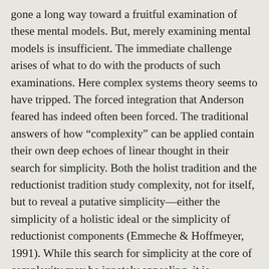gone a long way toward a fruitful examination of these mental models. But, merely examining mental models is insufficient. The immediate challenge arises of what to do with the products of such examinations. Here complex systems theory seems to have tripped. The forced integration that Anderson feared has indeed often been forced. The traditional answers of how “complexity” can be applied contain their own deep echoes of linear thought in their search for simplicity. Both the holist tradition and the reductionist tradition study complexity, not for itself, but to reveal a putative simplicity—either the simplicity of a holistic ideal or the simplicity of reductionist components (Emmeche & Hoffmeyer, 1991). While this search for simplicity at the core of complexity may be innately appealing, it is confoundedly misleading. The simplicity so expressed may be descriptive of a subset or of the observer, but it misses the essential character of the system supposedly being described.